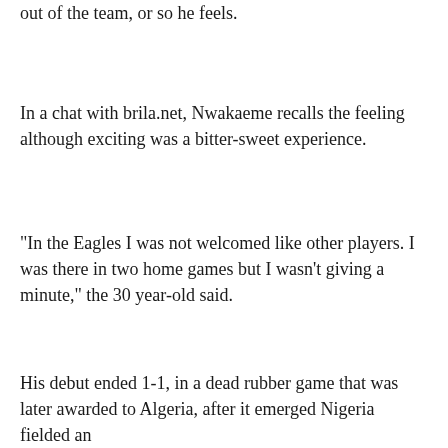out of the team, or so he feels.
In a chat with brila.net, Nwakaeme recalls the feeling although exciting was a bitter-sweet experience.
“In the Eagles I was not welcomed like other players. I was there in two home games but I wasn't giving a minute,” the 30 year-old said.
His debut ended 1-1, in a dead rubber game that was later awarded to Algeria, after it emerged Nigeria fielded an